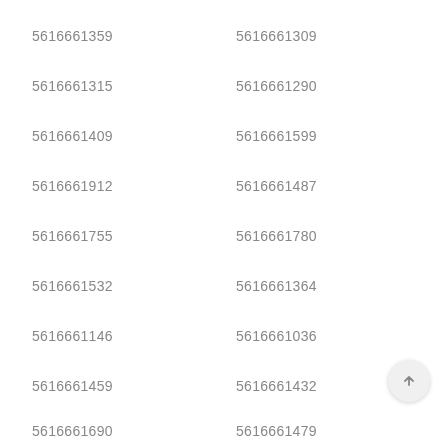5616661359
5616661309
5616661315
5616661290
5616661409
5616661599
5616661912
5616661487
5616661755
5616661780
5616661532
5616661364
5616661146
5616661036
5616661459
5616661432
5616661690
5616661479